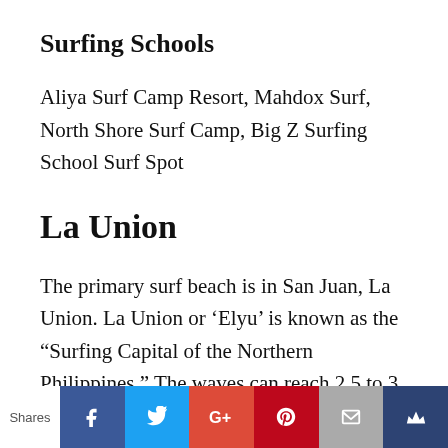Surfing Schools
Aliya Surf Camp Resort, Mahdox Surf, North Shore Surf Camp, Big Z Surfing School Surf Spot
La Union
The primary surf beach is in San Juan, La Union. La Union or ‘Elyu’ is known as the “Surfing Capital of the Northern Philippines.” The waves can reach 2.5 to 3 meters during the